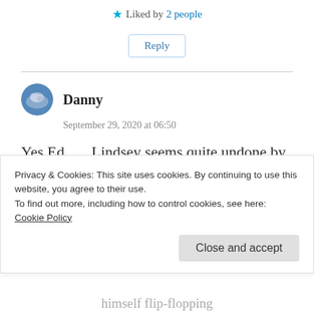★ Liked by 2 people
Reply
Danny
September 29, 2020 at 06:50
Yes Ed.......Lindsey seems quite undone by finding himself dead even with a Democrat. NOT the
Privacy & Cookies: This site uses cookies. By continuing to use this website, you agree to their use.
To find out more, including how to control cookies, see here:
Cookie Policy
Close and accept
himself flip-flopping